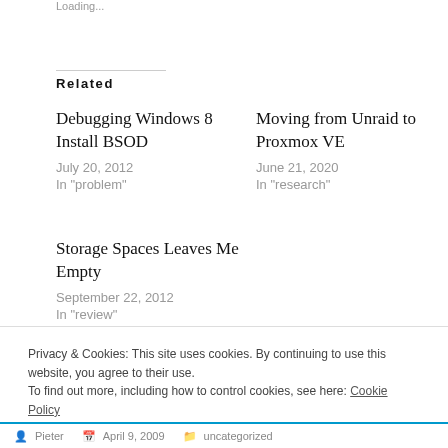Loading...
Related
Debugging Windows 8 Install BSOD
July 20, 2012
In "problem"
Moving from Unraid to Proxmox VE
June 21, 2020
In "research"
Storage Spaces Leaves Me Empty
September 22, 2012
In "review"
Privacy & Cookies: This site uses cookies. By continuing to use this website, you agree to their use.
To find out more, including how to control cookies, see here: Cookie Policy
Close and accept
Pieter   April 9, 2009   uncategorized